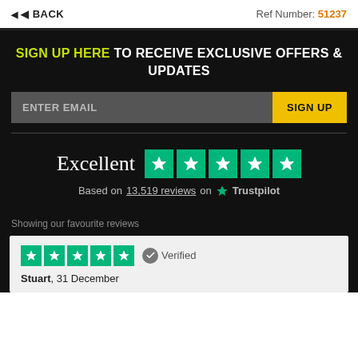BACK | Ref Number: 51237
SIGN UP HERE TO RECEIVE EXCLUSIVE OFFERS & UPDATES
ENTER EMAIL | SIGN UP
[Figure (logo): Trustpilot rating: Excellent, 5 green stars, Based on 13,519 reviews on Trustpilot]
Showing our favourite reviews
Stuart, 31 December — Verified